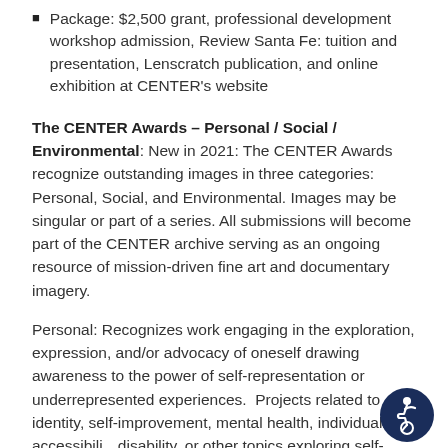Package: $2,500 grant, professional development workshop admission, Review Santa Fe: tuition and presentation, Lenscratch publication, and online exhibition at CENTER's website
The CENTER Awards – Personal / Social / Environmental: New in 2021: The CENTER Awards recognize outstanding images in three categories: Personal, Social, and Environmental. Images may be singular or part of a series. All submissions will become part of the CENTER archive serving as an ongoing resource of mission-driven fine art and documentary imagery.
Personal: Recognizes work engaging in the exploration, expression, and/or advocacy of oneself drawing awareness to the power of self-representation or underrepresented experiences. Projects related to identity, self-improvement, mental health, individualism, accessibility, disability, or other topics exploring self-empowerment are
[Figure (illustration): Accessibility icon — a circular dark navy badge with a white wheelchair/person symbol inside]